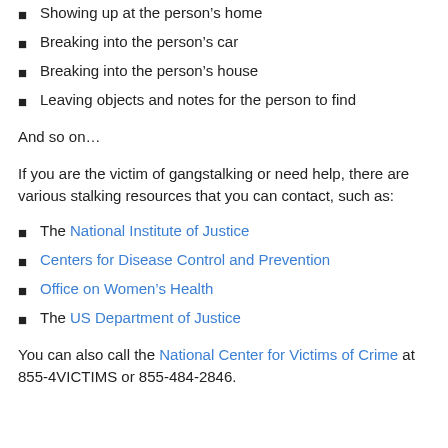Showing up at the person's home
Breaking into the person's car
Breaking into the person's house
Leaving objects and notes for the person to find
And so on…
If you are the victim of gangstalking or need help, there are various stalking resources that you can contact, such as:
The National Institute of Justice
Centers for Disease Control and Prevention
Office on Women's Health
The US Department of Justice
You can also call the National Center for Victims of Crime at 855-4VICTIMS or 855-484-2846.